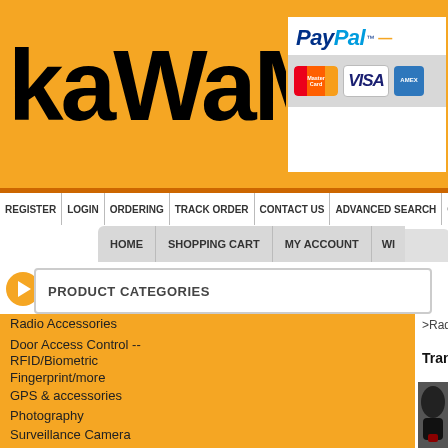[Figure (logo): kaWaMall logo in black text on orange background]
[Figure (logo): PayPal logo with MasterCard, VISA, and AMEX card icons]
REGISTER | LOGIN | ORDERING | TRACK ORDER | CONTACT US | ADVANCED SEARCH | ON SALE
HOME | SHOPPING CART | MY ACCOUNT | W...
PRODUCT CATEGORIES
Radio Accessories
Door Access Control -- RFID/Biometric Fingerprint/more
GPS & accessories
Photography
Surveillance Camera
Wall Decorations
Computer Accessories
12V Rocker Switch LED
Digital Instrument Meter
>Radio Accessories
Transducer Ear Mic
[Figure (photo): Product photo of Transducer Ear Mic - black earpiece device with kaWaMall watermark]